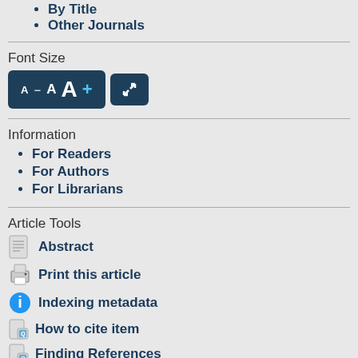By Title
Other Journals
Font Size
[Figure (screenshot): Font size control buttons: A- A A+ and an expand/fullscreen button on dark blue background]
Information
For Readers
For Authors
For Librarians
Article Tools
Abstract
Print this article
Indexing metadata
How to cite item
Finding References
Review policy
Email this article (Login required)
Email the author (Login required)